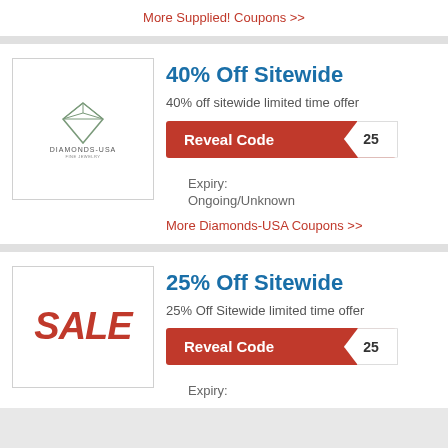More Supplied! Coupons >>
[Figure (logo): Diamonds-USA logo with diamond illustration and brand name]
40% Off Sitewide
40% off sitewide limited time offer
Reveal Code  25
Expiry:
Ongoing/Unknown
More Diamonds-USA Coupons >>
[Figure (logo): SALE text in large red bold italic letters]
25% Off Sitewide
25% Off Sitewide limited time offer
Reveal Code  25
Expiry: